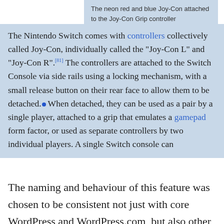The neon red and blue Joy-Con attached to the Joy-Con Grip controller
The Nintendo Switch comes with controllers collectively called Joy-Con, individually called the "Joy-Con L" and "Joy-Con R".[81] The controllers are attached to the Switch Console via side rails using a locking mechanism, with a small release button on their rear face to allow them to be detached. When detached, they can be used as a pair by a single player, attached to a grip that emulates a gamepad form factor, or used as separate controllers by two individual players. A single Switch console can
The naming and behaviour of this feature was chosen to be consistent not just with core WordPress and WordPress.com, but also other publishing tools with a visual editor.